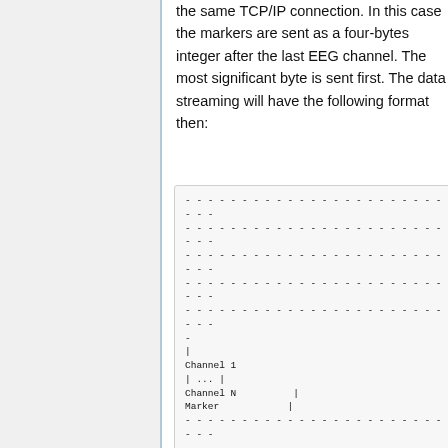the same TCP/IP connection. In this case the markers are sent as a four-bytes integer after the last EEG channel. The most significant byte is sent first. The data streaming will have the following format then:
[Figure (schematic): Monospace diagram showing data streaming format with dashed lines representing packet structure and labels: Channel 1, | ... |, Channel N |, Marker |, followed by more dashed lines.]